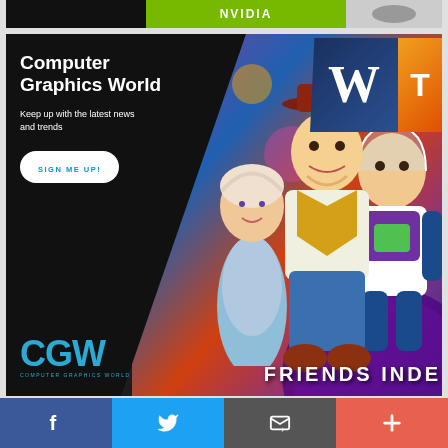[Figure (screenshot): Top banner strip with NVIDIA green logo and other brand logos on dark/white background]
[Figure (infographic): Computer Graphics World (CGW) advertisement banner with black and white diagonal design. Left side shows text: 'Computer Graphics World', 'Keep up with the latest news and trends', 'SIGN ME UP!' button, and CGW logo in cyan. Right side shows Toy Story 4 characters (Bo Peep, Woody, Buzz Lightyear) with colorful background and magazine covers. Bottom text: 'FRIENDS INDE']
[Figure (infographic): Social media share bar with Facebook (blue), Twitter (light blue), Email/envelope (dark gray), and Add/plus (coral/salmon) buttons across the bottom of the page]